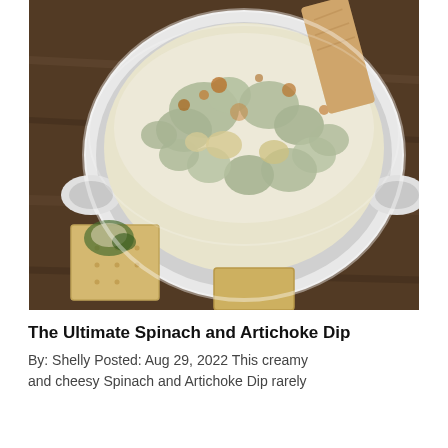[Figure (photo): Close-up photo of a white ceramic baking dish filled with creamy spinach and artichoke dip with melted cheese on top, with crackers on a wooden board beneath it and a bread stick dipping into the dip.]
The Ultimate Spinach and Artichoke Dip
By: Shelly Posted: Aug 29, 2022 This creamy and cheesy Spinach and Artichoke Dip rarely